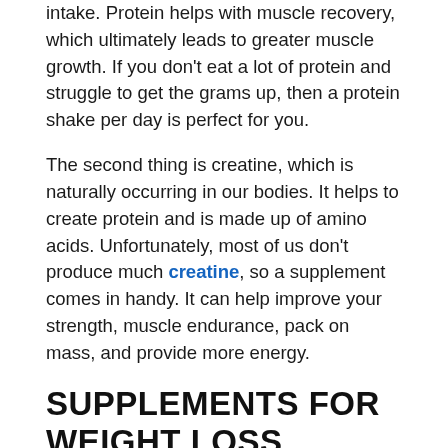intake. Protein helps with muscle recovery, which ultimately leads to greater muscle growth. If you don't eat a lot of protein and struggle to get the grams up, then a protein shake per day is perfect for you.
The second thing is creatine, which is naturally occurring in our bodies. It helps to create protein and is made up of amino acids. Unfortunately, most of us don't produce much creatine, so a supplement comes in handy. It can help improve your strength, muscle endurance, pack on mass, and provide more energy.
SUPPLEMENTS FOR WEIGHT LOSS
Again, whey protein is a good supplement when you want to lose weight. The difference is that you should get one that's a 'diet' version and low in calories. As I mentioned earlier, protein helps with muscle growth. The more muscle you have, the easier it is to burn fat.